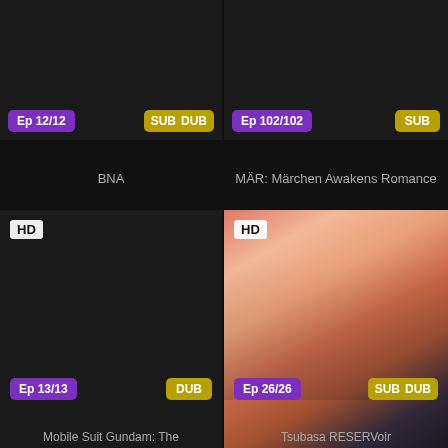[Figure (screenshot): Anime streaming interface showing 4 show cards in a 2x2 grid. Top-left: BNA (Ep 12/12, SUB DUB). Top-right: MÄR: Märchen Awakens Romance (Ep 102/102, SUB). Bottom-left: Mobile Suit Gundam: The (Ep 13/13, DUB), HD badge. Bottom-right: Tsubasa RESERVoir (Ep 26/26, SUB DUB), HD badge, with visible anime cover art.]